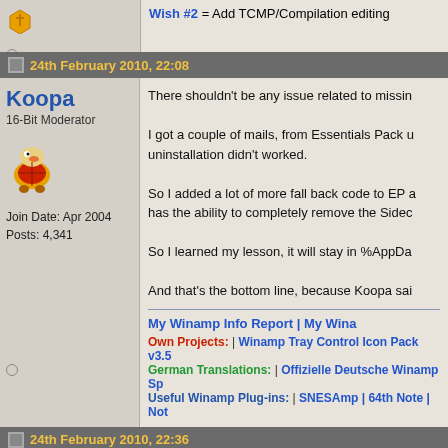Wish #2 = Add TCMP/Compilation editing
24th February 2010, 22:08
Koopa
16-Bit Moderator
Join Date: Apr 2004
Posts: 4,341
There shouldn't be any issue related to missin...

I got a couple of mails, from Essentials Pack u... uninstallation didn't worked.

So I added a lot of more fall back code to EP a... has the ability to completely remove the Sidec...

So I learned my lesson, it will stay in %AppDa...

And that's the bottom line, because Koopa sai...
My Winamp Info Report | My Wina...
Own Projects: | Winamp Tray Control Icon Pack v3.5...
German Translations: | Offizielle Deutsche Winamp Sp...
Useful Winamp Plug-ins: | SNESAmp | 64th Note | Not...
24th February 2010, 22:36
MrSinatra
thats fine, but its not what i meant. what i mea...